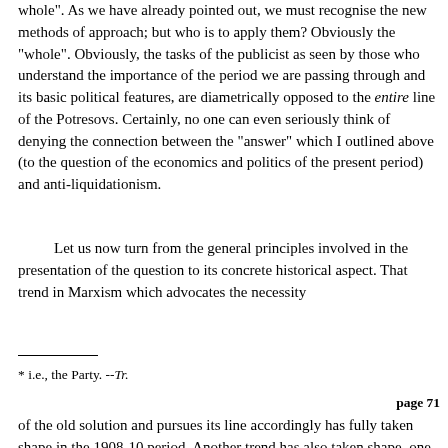whole". As we have already pointed out, we must recognise the new methods of approach; but who is to apply them? Obviously the "whole". Obviously, the tasks of the publicist as seen by those who understand the importance of the period we are passing through and its basic political features, are diametrically opposed to the entire line of the Potresovs. Certainly, no one can even seriously think of denying the connection between the "answer" which I outlined above (to the question of the economics and politics of the present period) and anti-liquidationism.
Let us now turn from the general principles involved in the presentation of the question to its concrete historical aspect. That trend in Marxism which advocates the necessity
* i.e., the Party. --Tr.
page 71
of the old solution and pursues its line accordingly has fully taken shape in the 1908-10 period. Another trend has also taken shape, one which during all these three years has opposed the recognition of the "old solution" and the restoration of the old fundamental forms of the whole. It would be ridiculous to deny this fact. And a third trend